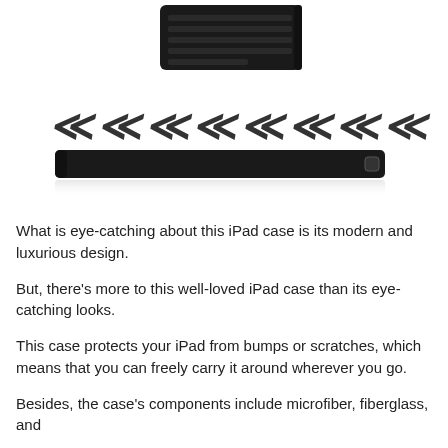[Figure (photo): Product photo of a black iPad case shown from the side with a decorative arrow/chevron pattern in the middle, and a slim profile view of the case at the bottom with a subtle reflection.]
What is eye-catching about this iPad case is its modern and luxurious design.
But, there's more to this well-loved iPad case than its eye-catching looks.
This case protects your iPad from bumps or scratches, which means that you can freely carry it around wherever you go.
Besides, the case's components include microfiber, fiberglass, and